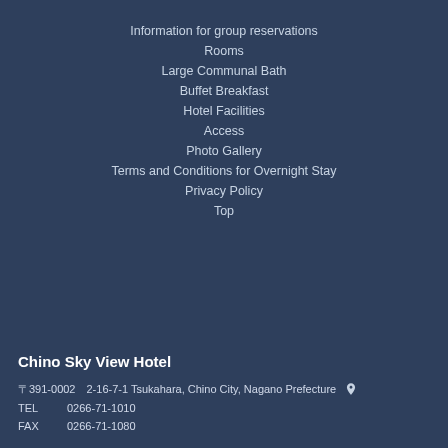Information for group reservations
Rooms
Large Communal Bath
Buffet Breakfast
Hotel Facilities
Access
Photo Gallery
Terms and Conditions for Overnight Stay
Privacy Policy
Top
Chino Sky View Hotel
〒391-0002　2-16-7-1 Tsukahara, Chino City, Nagano Prefecture
TEL　0266-71-1010
FAX　0266-71-1080